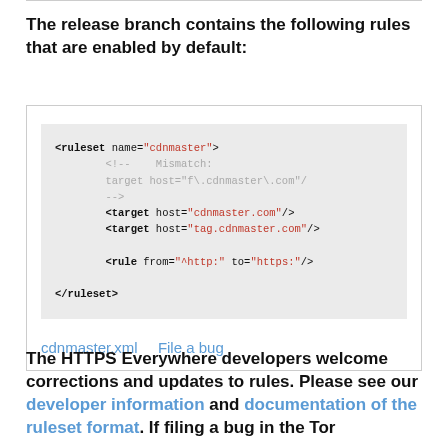The release branch contains the following rules that are enabled by default:
[Figure (other): Code block showing XML ruleset for cdnmaster with targets cdnmaster.com and tag.cdnmaster.com, and a rule redirecting http to https. Below the code are links: cdnmaster.xml and File a bug.]
The HTTPS Everywhere developers welcome corrections and updates to rules. Please see our developer information and documentation of the ruleset format. If filing a bug in the Tor